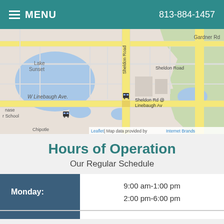MENU | 813-884-1457
[Figure (map): Street map showing Sheldon Road at W Linebaugh Ave intersection in Tampa, FL. Shows Lake Sunset area, Gardner Rd, Sheldon Road (yellow highlighted), W Linebaugh Ave (yellow highlighted), and a bus stop marker at Sheldon Rd @ Linebaugh Av. Labels include Lake Sunset, Gardner Rd, Sheldon Road, W Linebaugh Ave., Sheldon Rd @ Linebaugh Av, Chase School, Chipotle. Attribution: Leaflet | Map data provided by Internet Brands.]
Hours of Operation
Our Regular Schedule
| Day | Hours |
| --- | --- |
| Monday: | 9:00 am-1:00 pm
2:00 pm-6:00 pm |